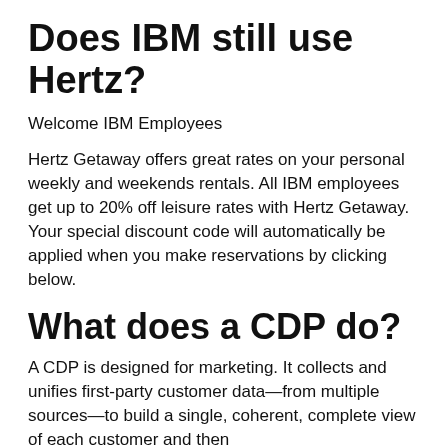Does IBM still use Hertz?
Welcome IBM Employees
Hertz Getaway offers great rates on your personal weekly and weekends rentals. All IBM employees get up to 20% off leisure rates with Hertz Getaway. Your special discount code will automatically be applied when you make reservations by clicking below.
What does a CDP do?
A CDP is designed for marketing. It collects and unifies first-party customer data—from multiple sources—to build a single, coherent, complete view of each customer and then